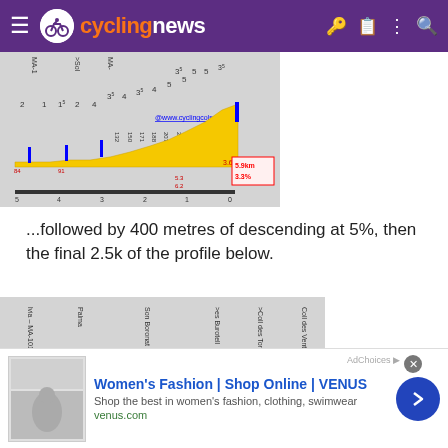cyclingnews
[Figure (other): Cycling route elevation profile chart from cyclingcols.com showing climb segments labeled MA-1, Sol, MA- with gradient numbers (2,1,1.5,2,4,3.5,4,3.5,4,5,5,3.5) and altitude markers (84,91,132,150,171,188,207,233,258,276) with distance scale 0-5km. Red box shows 5.9km, 3.3% stats. Yellow highlights for climb sections.]
...followed by 400 metres of descending at 5%, then the final 2.5k of the profile below.
[Figure (other): Cycling route elevation profile showing road names: lvia - MA-1015/MA-1016, Palma, Son Boronat, es Burotell, Coll des Tords, Coll des Vent. Gradient numbers 4.5, 5, 5, 6 visible at bottom right with yellow climb section.]
Women's Fashion | Shop Online | VENUS
Shop the best in women's fashion, clothing, swimwear
venus.com